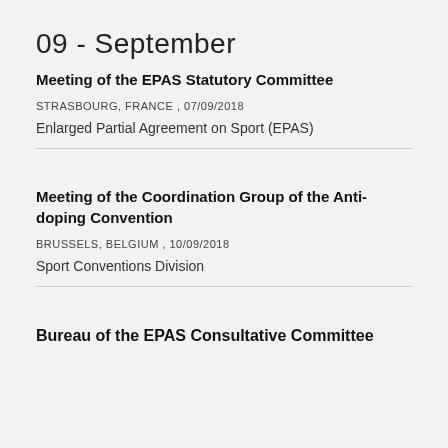09 - September
Meeting of the EPAS Statutory Committee
STRASBOURG, FRANCE ,  07/09/2018
Enlarged Partial Agreement on Sport (EPAS)
Meeting of the Coordination Group of the Anti-doping Convention
BRUSSELS, BELGIUM ,  10/09/2018
Sport Conventions Division
Bureau of the EPAS Consultative Committee